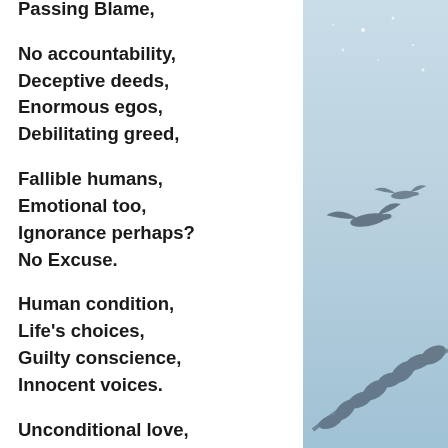Passing Blame,

No accountability,
Deceptive deeds,
Enormous egos,
Debilitating greed,

Fallible humans,
Emotional too,
Ignorance perhaps?
No Excuse.

Human condition,
Life's choices,
Guilty conscience,
Innocent voices.

Unconditional love,
Extinction evaded,
[Figure (illustration): Light blue background with silhouette of birds in flight and a branch with leaves, decorative nature illustration]